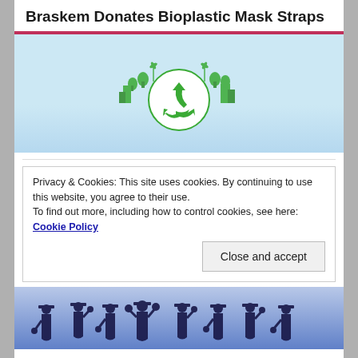Braskem Donates Bioplastic Mask Straps
[Figure (illustration): Green recycling symbol globe with cityscape and nature elements on light blue background]
Privacy & Cookies: This site uses cookies. By continuing to use this website, you agree to their use.
To find out more, including how to control cookies, see here: Cookie Policy
[Figure (photo): Silhouette of graduating students in caps and gowns celebrating against a blue sky background]